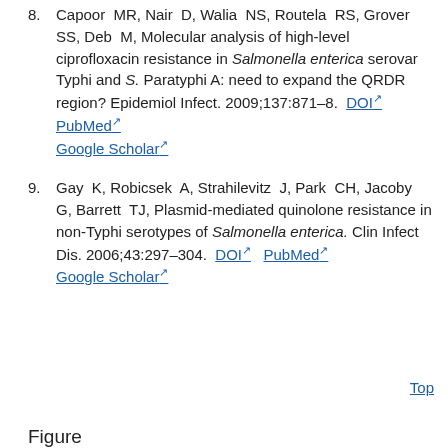8. Capoor MR, Nair D, Walia NS, Routela RS, Grover SS, Deb M, Molecular analysis of high-level ciprofloxacin resistance in Salmonella enterica serovar Typhi and S. Paratyphi A: need to expand the QRDR region? Epidemiol Infect. 2009;137:871–8. DOI PubMed Google Scholar
9. Gay K, Robicsek A, Strahilevitz J, Park CH, Jacoby G, Barrett TJ, Plasmid-mediated quinolone resistance in non-Typhi serotypes of Salmonella enterica. Clin Infect Dis. 2006;43:297–304. DOI PubMed Google Scholar
Top
Figure